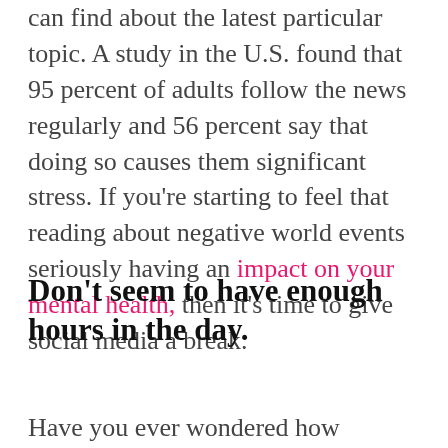can find about the latest particular topic. A study in the U.S. found that 95 percent of adults follow the news regularly and 56 percent say that doing so causes them significant stress. If you're starting to feel that reading about negative world events seriously having an impact on your mental health, then it's time to give social media a break.
Don't seem to have enough hours in the day.
Have you ever wondered how